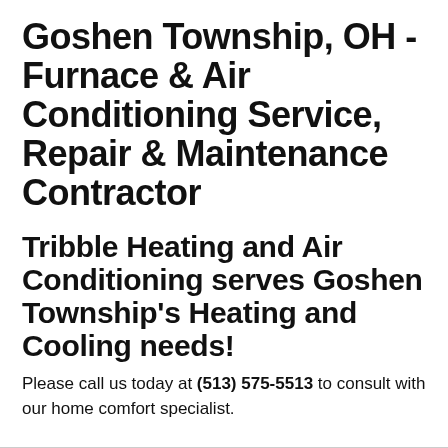Goshen Township, OH - Furnace & Air Conditioning Service, Repair & Maintenance Contractor
Tribble Heating and Air Conditioning serves Goshen Township's Heating and Cooling needs!
Please call us today at (513) 575-5513 to consult with our home comfort specialist.